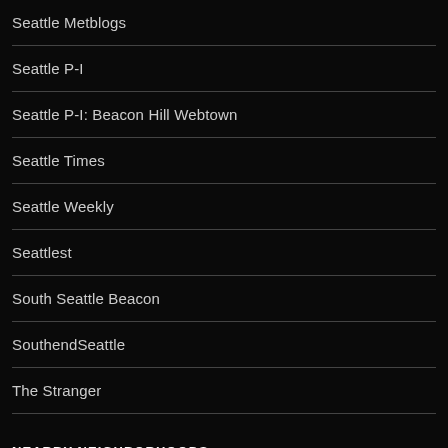Seattle Metblogs
Seattle P-I
Seattle P-I: Beacon Hill Webtown
Seattle Times
Seattle Weekly
Seattlest
South Seattle Beacon
SouthendSeattle
The Stranger
NEARBY NEIGHBORHOODS
Blogging Georgetown